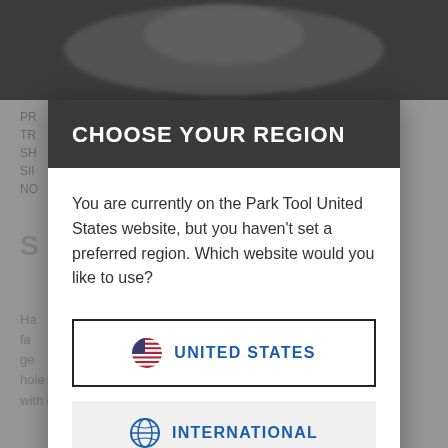[Figure (screenshot): Background website page (Park Tool blog) partially visible behind modal dialog, showing dark photo band at top and gray body text below.]
CHOOSE YOUR REGION
You are currently on the Park Tool United States website, but you haven't set a preferred region. Which website would you like to use?
UNITED STATES
INTERNATIONAL